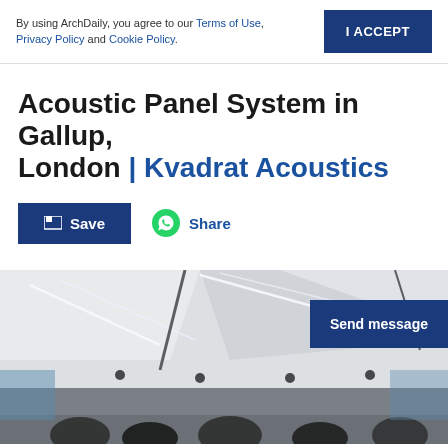By using ArchDaily, you agree to our Terms of Use, Privacy Policy and Cookie Policy.
I ACCEPT
Acoustic Panel System in Gallup, London | Kvadrat Acoustics
Save
Share
[Figure (photo): Interior photo of an office ceiling with white acoustic panels, linear LED lighting strips, and recessed spotlights. The lower portion shows silhouettes of chairs/furniture.]
Send message